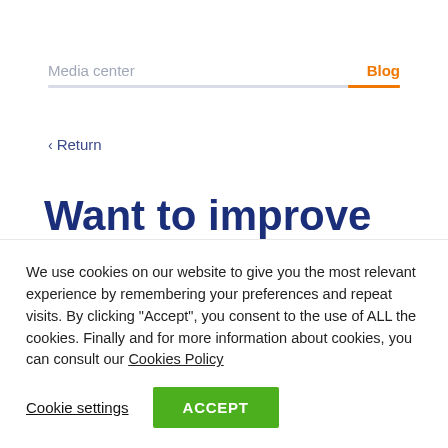Media center   Blog
< Return
Want to improve your bank's customer
We use cookies on our website to give you the most relevant experience by remembering your preferences and repeat visits. By clicking "Accept", you consent to the use of ALL the cookies. Finally and for more information about cookies, you can consult our Cookies Policy
Cookie settings   ACCEPT